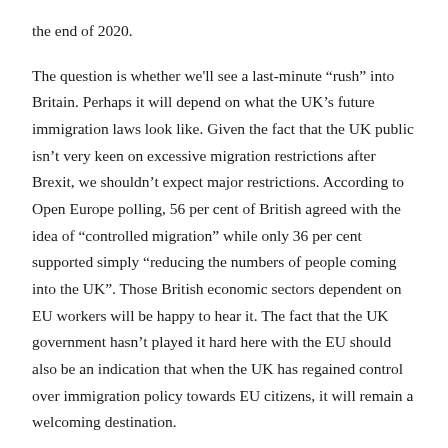the end of 2020.

The question is whether we'll see a last-minute “rush” into Britain. Perhaps it will depend on what the UK’s future immigration laws look like. Given the fact that the UK public isn’t very keen on excessive migration restrictions after Brexit, we shouldn’t expect major restrictions. According to Open Europe polling, 56 per cent of British agreed with the idea of “controlled migration” while only 36 per cent supported simply “reducing the numbers of people coming into the UK”. Those British economic sectors dependent on EU workers will be happy to hear it. The fact that the UK government hasn’t played it hard here with the EU should also be an indication that when the UK has regained control over immigration policy towards EU citizens, it will remain a welcoming destination.